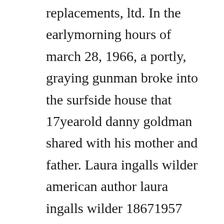replacements, ltd. In the earlymorning hours of march 28, 1966, a portly, graying gunman broke into the surfside house that 17yearold danny goldman shared with his mother and father. Laura ingalls wilder american author laura ingalls wilder 18671957 was the creator of the muchloved childrens series of little house books that recounted her life as a young girl on the western frontier during the last half of the nineteenth century. Homestead book stores find a book store in homestead, fl. Danish americans history, modern era, the first danes in. Whitepages provides the top